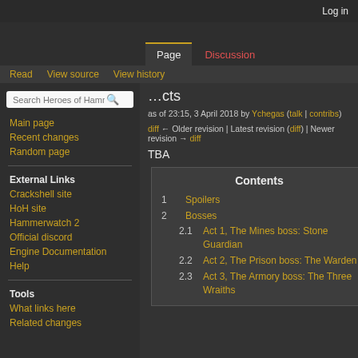Log in
[Figure (logo): Heroes of Hammerwatch wiki logo with stylized text and teal/gold decorative elements]
Page | Discussion | Read | View source | View history
Search Heroes of Hammerwatch
Acts
as of 23:15, 3 April 2018 by Ychegas (talk | contribs)
diff ← Older revision | Latest revision (diff) | Newer revision → diff
TBA
Main page
Recent changes
Random page
External Links
Crackshell site
HoH site
Hammerwatch 2
Official discord
Engine Documentation
Help
Tools
What links here
Related changes
| Contents |
| --- |
| 1 Spoilers |
| 2 Bosses |
| 2.1 Act 1, The Mines boss: Stone Guardian |
| 2.2 Act 2, The Prison boss: The Warden |
| 2.3 Act 3, The Armory boss: The Three Wraiths |